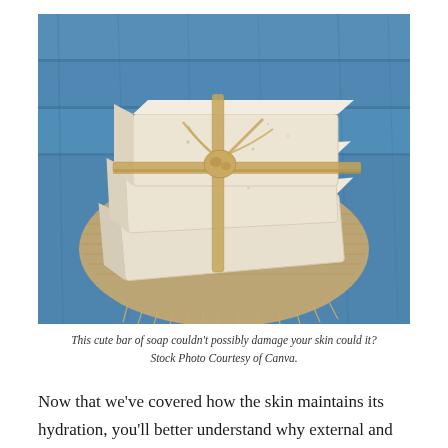[Figure (photo): Three bars of natural/artisan soap stacked and tied with twine/jute string, resting on a burlap cloth, with a blue wooden surface in the background.]
This cute bar of soap couldn't possibly damage your skin could it? Stock Photo Courtesy of Canva.
Now that we've covered how the skin maintains its hydration, you'll better understand why external and